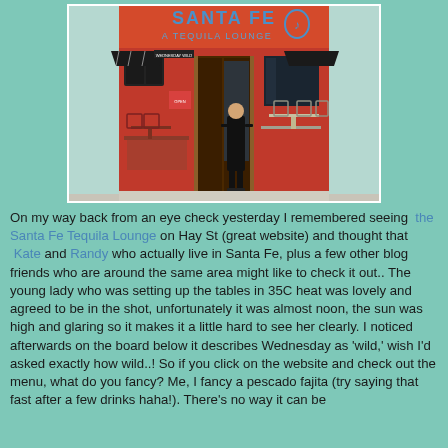[Figure (photo): Exterior photo of Santa Fe Tequila Lounge on Hay St. The building has a red/orange facade with a sign reading 'SANTA FE A Tequila Lounge'. A person in black clothing stands in the doorway. Outdoor seating is visible on both sides.]
On my way back from an eye check yesterday I remembered seeing the Santa Fe Tequila Lounge on Hay St (great website) and thought that Kate and Randy who actually live in Santa Fe, plus a few other blog friends who are around the same area might like to check it out.. The young lady who was setting up the tables in 35C heat was lovely and agreed to be in the shot, unfortunately it was almost noon, the sun was high and glaring so it makes it a little hard to see her clearly. I noticed afterwards on the board below it describes Wednesday as 'wild,' wish I'd asked exactly how wild..! So if you click on the website and check out the menu, what do you fancy? Me, I fancy a pescado fajita (try saying that fast after a few drinks haha!). There's no way it can be